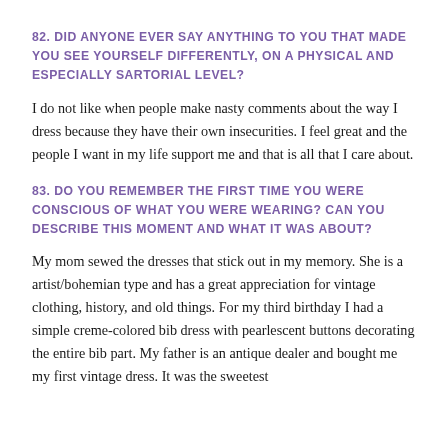82. DID ANYONE EVER SAY ANYTHING TO YOU THAT MADE YOU SEE YOURSELF DIFFERENTLY, ON A PHYSICAL AND ESPECIALLY SARTORIAL LEVEL?
I do not like when people make nasty comments about the way I dress because they have their own insecurities. I feel great and the people I want in my life support me and that is all that I care about.
83. DO YOU REMEMBER THE FIRST TIME YOU WERE CONSCIOUS OF WHAT YOU WERE WEARING? CAN YOU DESCRIBE THIS MOMENT AND WHAT IT WAS ABOUT?
My mom sewed the dresses that stick out in my memory. She is a artist/bohemian type and has a great appreciation for vintage clothing, history, and old things. For my third birthday I had a simple creme-colored bib dress with pearlescent buttons decorating the entire bib part. My father is an antique dealer and bought me my first vintage dress. It was the sweetest